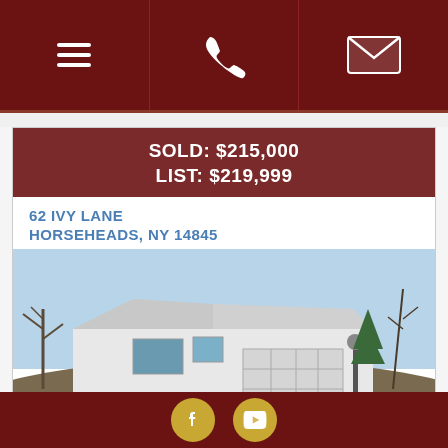Navigation bar with menu, phone, and email icons
SOLD: $215,000
LIST: $219,999
62 IVY LANE
HORSEHEADS, NY 14845
[Figure (photo): Exterior photo of a white ranch-style house at 62 Ivy Lane, Horseheads, NY, with a two-car garage, driveway, bare trees in background, taken in winter/fall.]
Social media links: Facebook and YouTube